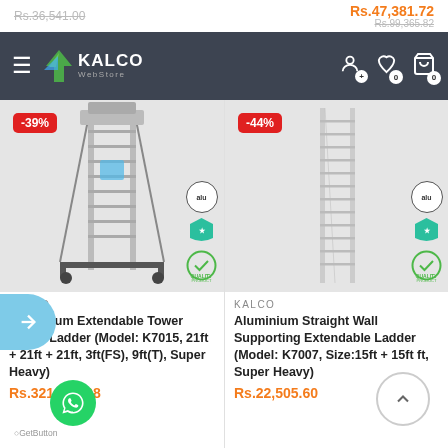Rs.36,541.00 (left, strikethrough) | Rs.47,381.72 (right, orange) | Rs.99,365.82 (right, strikethrough)
[Figure (screenshot): KALCO WebStore navigation bar with hamburger menu, logo, user icon, wishlist icon with badge 0, and cart icon with badge 0]
[Figure (photo): Product image: Aluminium Extendable Tower Wheel Ladder with -39% discount badge, alu badge, shield badge, quality badge]
KALCO
Aluminium Extendable Tower Wheel Ladder (Model: K7015, 21ft + 21ft + 21ft, 3ft(FS), 9ft(T), Super Heavy)
Rs.321,946.08
[Figure (photo): Product image: Aluminium Straight Wall Supporting Extendable Ladder with -44% discount badge, alu badge, shield badge, quality badge]
KALCO
Aluminium Straight Wall Supporting Extendable Ladder (Model: K7007, Size:15ft + 15ft ft, Super Heavy)
Rs.22,505.60